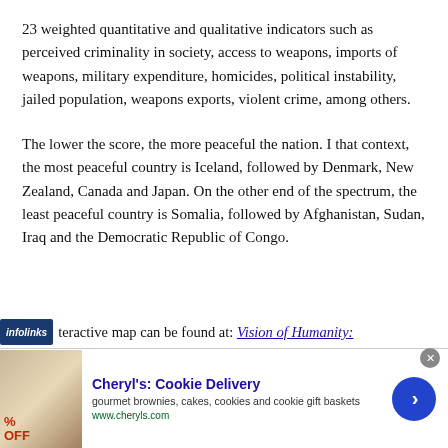23 weighted quantitative and qualitative indicators such as perceived criminality in society, access to weapons, imports of weapons, military expenditure, homicides, political instability, jailed population, weapons exports, violent crime, among others.
The lower the score, the more peaceful the nation. I that context, the most peaceful country is Iceland, followed by Denmark, New Zealand, Canada and Japan. On the other end of the spectrum, the least peaceful country is Somalia, followed by Afghanistan, Sudan, Iraq and the Democratic Republic of Congo.
An interactive map can be found at: Vision of Humanity:
[Figure (other): Advertisement banner for Cheryl's Cookie Delivery showing gourmet brownies/cookies image, promotional text about discounts, and a navigation arrow button]